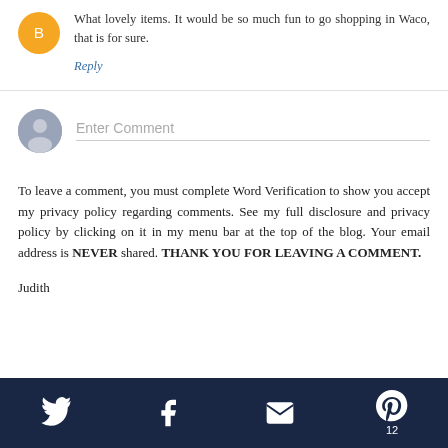What lovely items. It would be so much fun to go shopping in Waco, that is for sure.
Reply
Enter Comment
To leave a comment, you must complete Word Verification to show you accept my privacy policy regarding comments. See my full disclosure and privacy policy by clicking on it in my menu bar at the top of the blog. Your email address is NEVER shared. THANK YOU FOR LEAVING A COMMENT.
Judith
Twitter, Facebook, Email, Pinterest 12